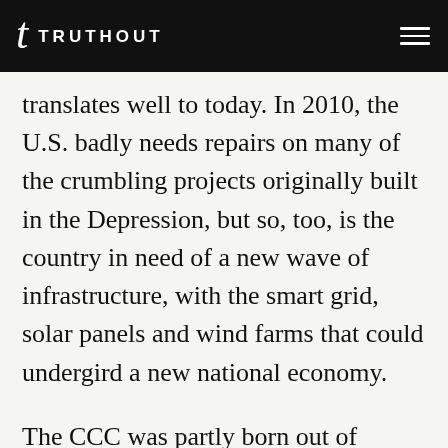TRUTHOUT
translates well to today. In 2010, the U.S. badly needs repairs on many of the crumbling projects originally built in the Depression, but so, too, is the country in need of a new wave of infrastructure, with the smart grid, solar panels and wind farms that could undergird a new national economy.
The CCC was partly born out of another environmental catastrophe — the years of soil degradation that fed the Dust Bowl. Three generations later, scientists suggest we're on